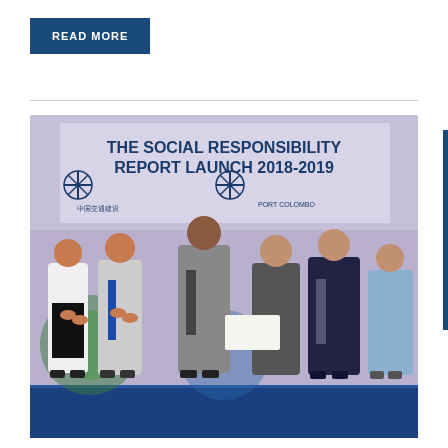READ MORE
[Figure (photo): The Social Responsibility Report Launch 2018-2019 event photo showing several people on stage. A banner behind them reads 'THE SOCIAL RESPONSIBILITY REPORT LAUNCH 2018-2019' with logos of 中国交通建设 (China Communications Construction) and another organization. People are shaking hands and applauding on a blue-lit stage.]